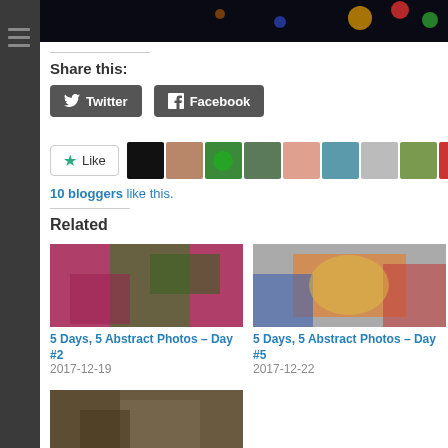[Figure (photo): Dark image strip showing colorful bokeh/lights at top of page]
Share this:
[Figure (other): Twitter and Facebook share buttons]
[Figure (other): Like button with star and avatar thumbnails of 9 bloggers]
10 bloggers like this.
Related
[Figure (photo): Close-up of pink/red and green leaf — related post image]
5 Days, 5 Abstract Photos – Day #2
2017-12-19
[Figure (photo): Abstract colorful explosion photo — related post image]
5 Days, 5 Abstract Photos – Day #5
2017-12-22
[Figure (photo): Third related post image showing rocky/earthy texture]